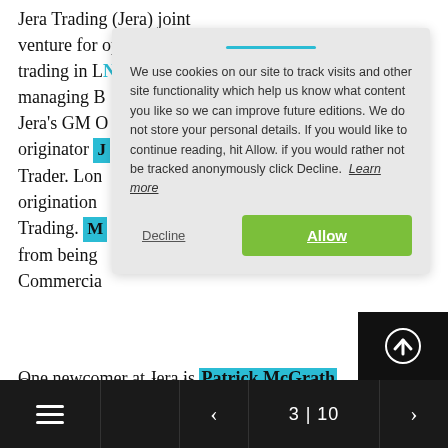Jera Trading (Jera) joint venture for optimisation and trading in LNG, managing B... Jera's GM O... originator J... Trader. Long origination Trading. M... from being... Commercial...
We use cookies on our site to track visits and other site functionality which help us know what content you like so we can improve future editions. We do not store your personal details. If you would like to continue reading, hit Allow. if you would rather not be tracked anonymously click Decline. Learn more
One newcomer at Jera is Patrick McGrath as head of Operations and Shipping. Patrick switches to Singapore from being Global Manager-LNG Operations for Shell in Dubai, but until 2016 he had been BG Group's Singapore-based fleet operations manager.
3 | 10